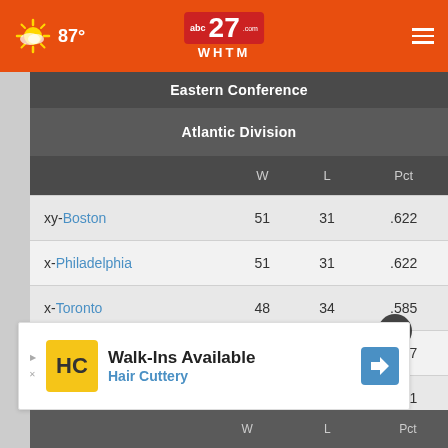87° abc27 WHTM
|  | W | L | Pct |
| --- | --- | --- | --- |
| xy-Boston | 51 | 31 | .622 |
| x-Philadelphia | 51 | 31 | .622 |
| x-Toronto | 48 | 34 | .585 |
| x-Brooklyn | 44 | 38 | .537 |
| New York | 37 | 45 | .451 |
[Figure (screenshot): Hair Cuttery advertisement banner: Walk-Ins Available, Hair Cuttery]